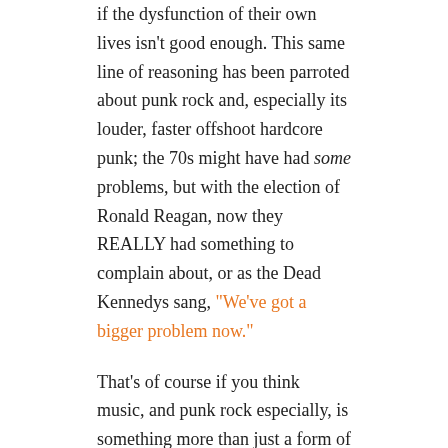if the dysfunction of their own lives isn't good enough.  This same line of reasoning has been parroted about punk rock and, especially its louder, faster offshoot hardcore punk; the 70s might have had some problems, but with the election of Ronald Reagan, now they REALLY had something to complain about, or as the Dead Kennedys sang, "We've got a bigger problem now."
That's of course if you think music, and punk rock especially, is something more than just a form of entertainment, a loud, fun, raucous way to “get the lead out.”  And unfortunately, for a bunch of free-loading, smelly Anarcho/crust punks, this is the case.
Although there were precursors to punk, bands such as the Velvet Underground, the Stooges, the MC5, the New York Dolls and the Modern Lovers, the general rule of thumb is